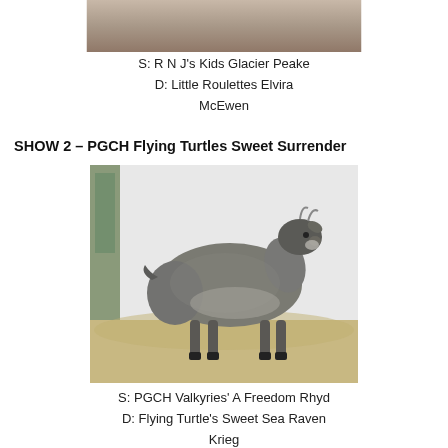[Figure (photo): Partial photo of a goat in a sandy pen, cropped at top of page]
S: R N J's Kids Glacier Peake
D: Little Roulettes Elvira McEwen
SHOW 2 – PGCH Flying Turtles Sweet Surrender
[Figure (photo): Side-profile photo of a grey pygmy goat standing on sandy ground in front of a white backdrop]
S: PGCH Valkyries' A Freedom Rhyd
D: Flying Turtle's Sweet Sea Raven Krieg